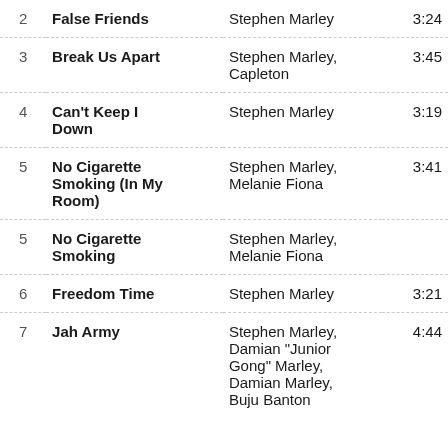| # | Title | Artist | Duration |
| --- | --- | --- | --- |
| 2 | False Friends | Stephen Marley | 3:24 |
| 3 | Break Us Apart | Stephen Marley, Capleton | 3:45 |
| 4 | Can't Keep I Down | Stephen Marley | 3:19 |
| 5 | No Cigarette Smoking (In My Room) | Stephen Marley, Melanie Fiona | 3:41 |
| 5 | No Cigarette Smoking | Stephen Marley, Melanie Fiona |  |
| 6 | Freedom Time | Stephen Marley | 3:21 |
| 7 | Jah Army | Stephen Marley, Damian "Junior Gong" Marley, Damian Marley, Buju Banton | 4:44 |